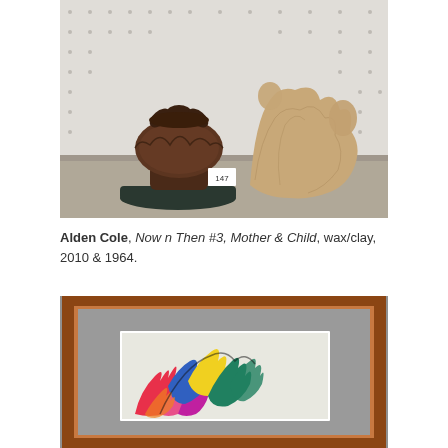[Figure (photo): Photograph of two sculptures on a shelf against a pegboard background. On the left is a dark brown ornate urn/vase with leaf decorations on a black marble base. On the right is a tan/beige abstract clay sculpture with organic rounded forms. A small white label numbered 147 is visible between them.]
Alden Cole, Now n Then #3, Mother & Child, wax/clay, 2010 & 1964.
[Figure (photo): Photograph of a framed artwork. The frame is medium brown wood with a light grey mat. Inside is a colorful abstract painting or drawing featuring bold shapes with red, pink, yellow, blue, teal/green, and magenta colors, resembling stylized leaves or flames. Only the upper portion of the framed piece is visible.]